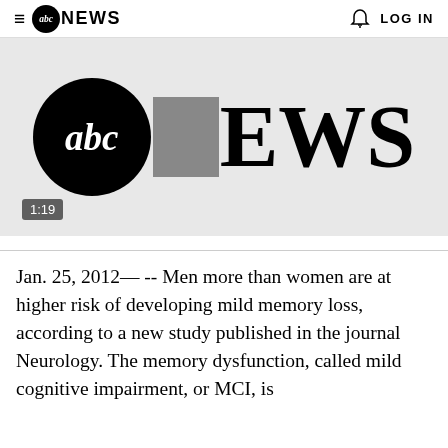abc NEWS  LOG IN
[Figure (screenshot): ABC News video thumbnail showing large ABC News logo on gray background with video duration 1:19 in lower left corner]
Jan. 25, 2012— -- Men more than women are at higher risk of developing mild memory loss, according to a new study published in the journal Neurology. The memory dysfunction, called mild cognitive impairment, or MCI, is